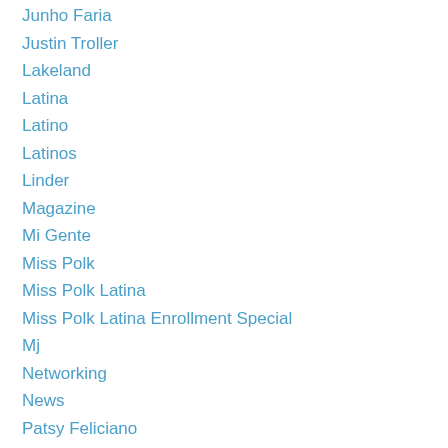Junho Faria
Justin Troller
Lakeland
Latina
Latino
Latinos
Linder
Magazine
Mi Gente
Miss Polk
Miss Polk Latina
Miss Polk Latina Enrollment Special
Mj
Networking
News
Patsy Feliciano
Polk
Pr Birth Certificates
Puerto Rico
Sba
Teresa Martinez